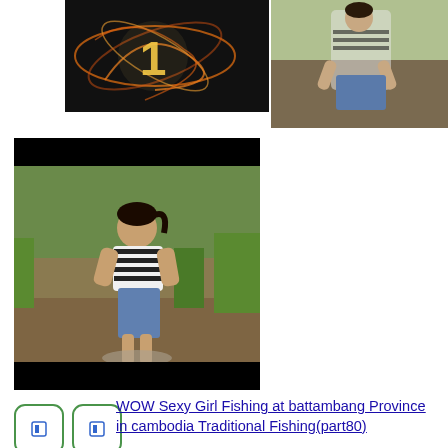[Figure (screenshot): Top-left video thumbnail with dark background, orange swirl graphics, and a number '1']
[Figure (photo): Top-right photo of a girl in striped shirt crouching in a muddy field/stream]
[Figure (photo): Middle-left photo of a girl in striped shirt standing in muddy water with green grass in background, black bars top and bottom]
WOW Sexy Girl Fishing at battambang Province in cambodia Traditional Fishing(part80)
▶10:47   @youtube
[Figure (screenshot): Bottom video thumbnail showing a girl in teal/green top bending down near water in a green grassy field, two side-by-side frames]